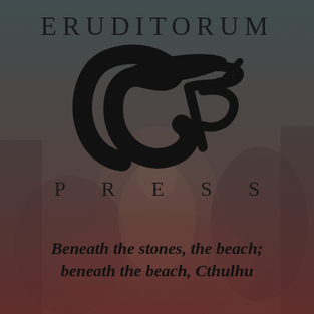[Figure (logo): Eruditorum Press logo with stylized 'EP' monogram and the words ERUDITORUM above and PRESS below, overlaid on a dark muted fantasy/horror background image]
Beneath the stones, the beach; beneath the beach, Cthulhu